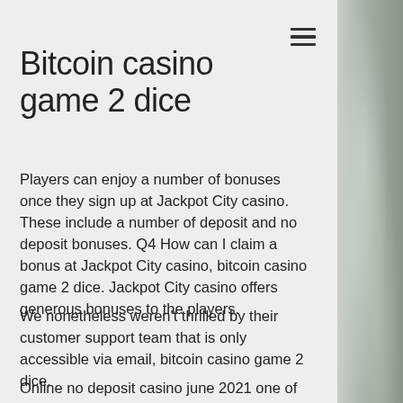Bitcoin casino game 2 dice
Players can enjoy a number of bonuses once they sign up at Jackpot City casino. These include a number of deposit and no deposit bonuses. Q4 How can I claim a bonus at Jackpot City casino, bitcoin casino game 2 dice. Jackpot City casino offers generous bonuses to the players.
We nonetheless weren't thrilled by their customer support team that is only accessible via email, bitcoin casino game 2 dice.
Online no deposit casino june 2021 one of the best elements that gamblers enjoy about Bitcoin slots is the complexity and variety of the features offered that lead to big Bitcoin